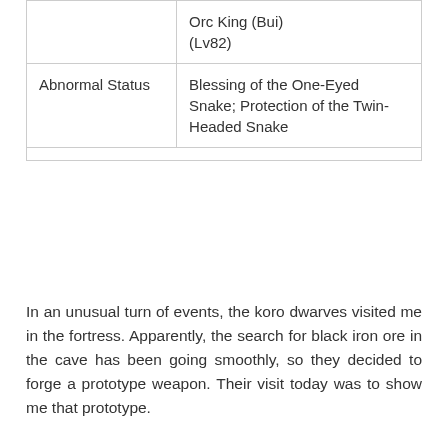|  | Orc King (Bui) (Lv82) |
| Abnormal Status | Blessing of the One-Eyed Snake; Protection of the Twin-Headed Snake |
In an unusual turn of events, the koro dwarves visited me in the fortress. Apparently, the search for black iron ore in the cave has been going smoothly, so they decided to forge a prototype weapon. Their visit today was to show me that prototype.